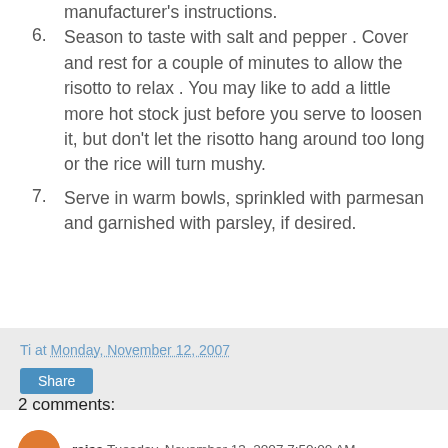manufacturer's instructions.
Season to taste with salt and pepper . Cover and rest for a couple of minutes to allow the risotto to relax . You may like to add a little more hot stock just before you serve to loosen it, but don't let the risotto hang around too long or the rice will turn mushy.
Serve in warm bowls, sprinkled with parmesan and garnished with parsley, if desired.
Ti at Monday, November 12, 2007
Share
2 comments:
raisa Tuesday, November 13, 2007 7:50:00 AM